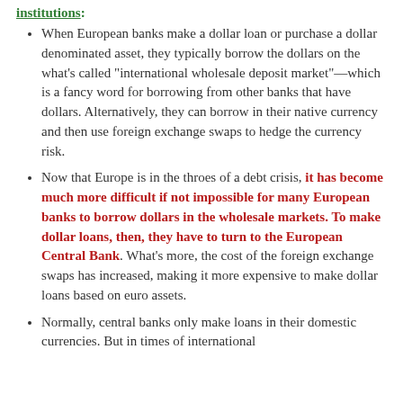institutions:
When European banks make a dollar loan or purchase a dollar denominated asset, they typically borrow the dollars on the what's called “international wholesale deposit market”—which is a fancy word for borrowing from other banks that have dollars. Alternatively, they can borrow in their native currency and then use foreign exchange swaps to hedge the currency risk.
Now that Europe is in the throes of a debt crisis, it has become much more difficult if not impossible for many European banks to borrow dollars in the wholesale markets. To make dollar loans, then, they have to turn to the European Central Bank. What’s more, the cost of the foreign exchange swaps has increased, making it more expensive to make dollar loans based on euro assets.
Normally, central banks only make loans in their domestic currencies. But in times of international